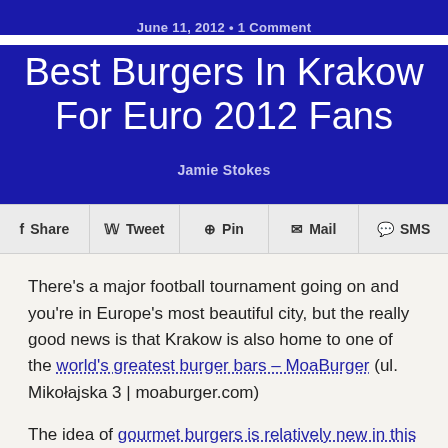June 11, 2012 • 1 Comment
Best Burgers In Krakow For Euro 2012 Fans
Jamie Stokes
Share  Tweet  Pin  Mail  SMS
There's a major football tournament going on and you're in Europe's most beautiful city, but the really good news is that Krakow is also home to one of the world's greatest burger bars – MoaBurger (ul. Mikołajska 3 | moaburger.com)
The idea of gourmet burgers is relatively new in this